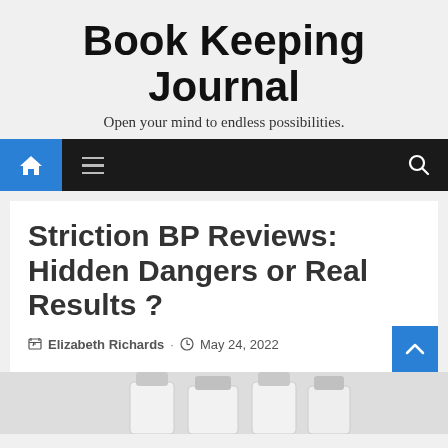Book Keeping Journal
Open your mind to endless possibilities.
[Figure (screenshot): Navigation bar with home icon, hamburger menu, and search icon]
Striction BP Reviews: Hidden Dangers or Real Results ?
Elizabeth Richards · May 24, 2022
[Figure (photo): Partially visible pill bottles at the bottom of the page]